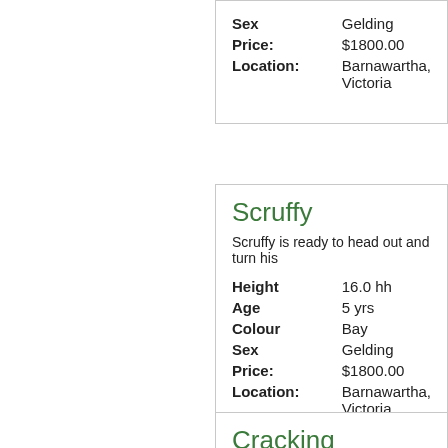Sex: Gelding
Price: $1800.00
Location: Barnawartha, Victoria
Scruffy
Scruffy is ready to head out and turn his
Height: 16.0 hh
Age: 5 yrs
Colour: Bay
Sex: Gelding
Price: $1800.00
Location: Barnawartha, Victoria
Cracking